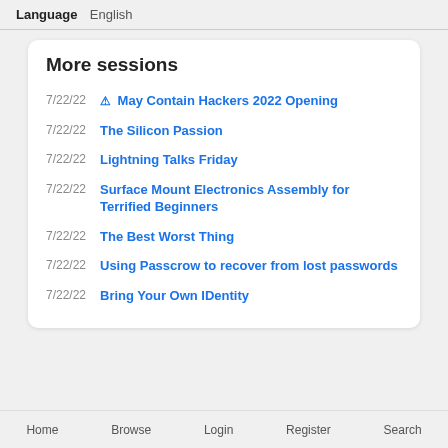Language  English
More sessions
7/22/22  ⚠ May Contain Hackers 2022 Opening
7/22/22  The Silicon Passion
7/22/22  Lightning Talks Friday
7/22/22  Surface Mount Electronics Assembly for Terrified Beginners
7/22/22  The Best Worst Thing
7/22/22  Using Passcrow to recover from lost passwords
7/22/22  Bring Your Own IDentity
Home  Browse  Login  Register  Search